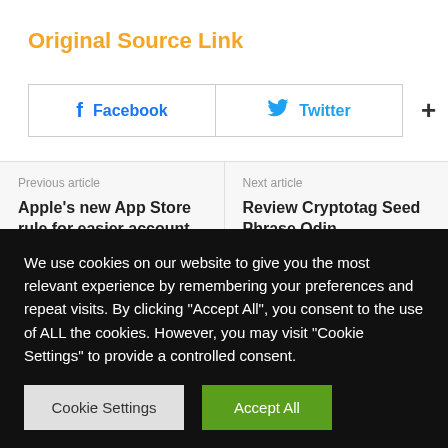Original Source Link
[Figure (other): Social share buttons: Facebook, Twitter, and a plus button]
Previous article
Apple's new App Store rule for easier account and data deletion
Next article
Review Cryptotag Seed Phrase Odin
We use cookies on our website to give you the most relevant experience by remembering your preferences and repeat visits. By clicking "Accept All", you consent to the use of ALL the cookies. However, you may visit "Cookie Settings" to provide a controlled consent.
Cookie Settings | Accept All